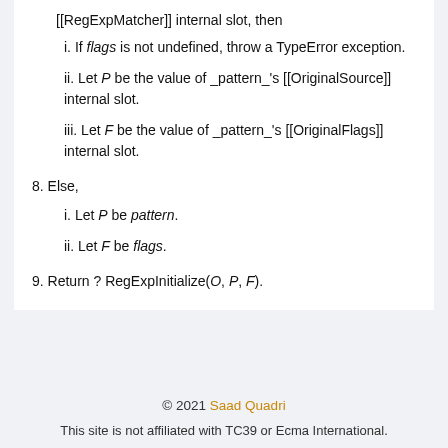[[RegExpMatcher]] internal slot, then
i. If flags is not undefined, throw a TypeError exception.
ii. Let P be the value of _pattern_'s [[OriginalSource]] internal slot.
iii. Let F be the value of _pattern_'s [[OriginalFlags]] internal slot.
8. Else,
i. Let P be pattern.
ii. Let F be flags.
9. Return ? RegExpInitialize(O, P, F).
© 2021 Saad Quadri
This site is not affiliated with TC39 or Ecma International.